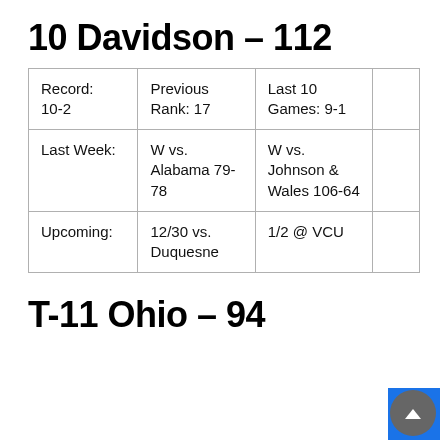10 Davidson – 112
| Record: 10-2 | Previous Rank: 17 | Last 10 Games: 9-1 |  |
| Last Week: | W vs. Alabama 79-78 | W vs. Johnson & Wales 106-64 |  |
| Upcoming: | 12/30 vs. Duquesne | 1/2 @ VCU |  |
T-11 Ohio – 94